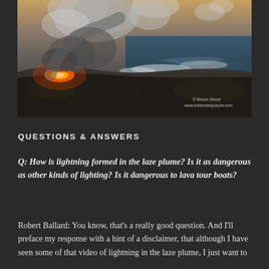[Figure (photo): Aerial or ground-level photograph of lava entering the ocean, creating a large steam/laze plume. Glowing orange lava is visible on the left, dark volcanic rocks line the coast, ocean waves crash against the shore. Smoke and steam billow upward. Photo credit: © Bruce Omori, www.extremeexposure.com]
QUESTIONS & ANSWERS
Q: How is lightning formed in the laze plume? Is it as dangerous as other kinds of lighting? Is it dangerous to lava tour boats?
Robert Ballard: You know, that's a really good question. And I'll preface my response with a hint of a disclaimer, that although I have seen some of that video of lightning in the laze plume, I just want to